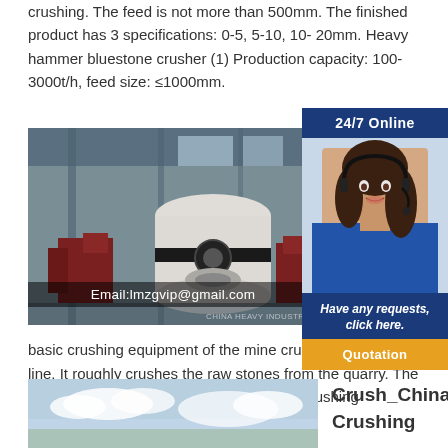crushing. The feed is not more than 500mm. The finished product has 3 specifications: 0-5, 5-10, 10-20mm. Heavy hammer bluestone crusher (1) Production capacity: 100-3000t/h, feed size: ≤1000mm.
[Figure (photo): Industrial crusher machine in a factory setting. Email overlay: Email:lmzgvip@gmail.com]
How
cos
cru
How
eff
equ
cru
basic crushing equipment of the mine crushing production line. It roughly crushes the raw stones from the quarry. The equipment is also the "big brother" of the crushing equipment.
[Figure (screenshot): 24/7 Online chat widget with customer service representative photo, 'Have any requests, click here.' and Quotation button]
[Figure (photo): Sky/outdoor scene photo (partially visible)]
Crush_China Crushing